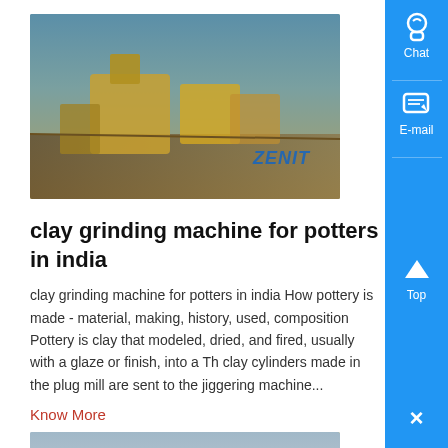[Figure (photo): Outdoor industrial mining/crushing equipment scene with yellow machinery under blue sky, with ZENIT watermark]
clay grinding machine for potters in india
clay grinding machine for potters in india How pottery is made - material, making, history, used, composition Pottery is clay that modeled, dried, and fired, usually with a glaze or finish, into a Th clay cylinders made in the plug mill are sent to the jiggering machine...
Know More
[Figure (photo): Outdoor scene with yellow industrial equipment and workers, ZENIT watermark at bottom]